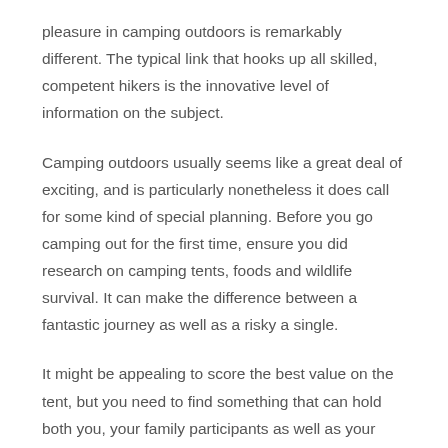pleasure in camping outdoors is remarkably different. The typical link that hooks up all skilled, competent hikers is the innovative level of information on the subject.
Camping outdoors usually seems like a great deal of exciting, and is particularly nonetheless it does call for some kind of special planning. Before you go camping out for the first time, ensure you did research on camping tents, foods and wildlife survival. It can make the difference between a fantastic journey as well as a risky a single.
It might be appealing to score the best value on the tent, but you need to find something that can hold both you, your family participants as well as your possessions. Try going to a retail store that specializes in exterior equipment. They usually have well-created products that will last for a time. Take a large garbage handbag for dirtied washing, whilst keeping it in the central location, ideal for everyone in your get together.